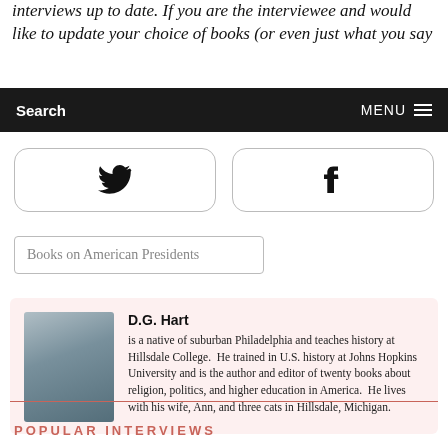interviews up to date. If you are the interviewee and would like to update your choice of books (or even just what you say
Search   MENU
[Figure (other): Twitter and Facebook social share buttons]
Books on American Presidents
D.G. Hart is a native of suburban Philadelphia and teaches history at Hillsdale College. He trained in U.S. history at Johns Hopkins University and is the author and editor of twenty books about religion, politics, and higher education in America. He lives with his wife, Ann, and three cats in Hillsdale, Michigan.
POPULAR INTERVIEWS